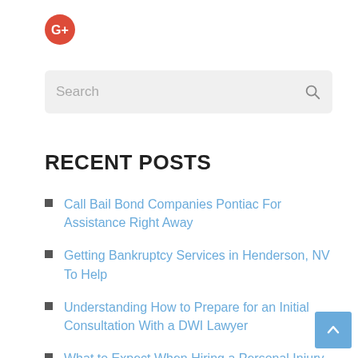[Figure (logo): Google Plus red circle icon with G+ symbol]
Search
RECENT POSTS
Call Bail Bond Companies Pontiac For Assistance Right Away
Getting Bankruptcy Services in Henderson, NV To Help
Understanding How to Prepare for an Initial Consultation With a DWI Lawyer
What to Expect When Hiring a Personal Injury Lawyer in Tucson
Why Should You Have a Living Will?